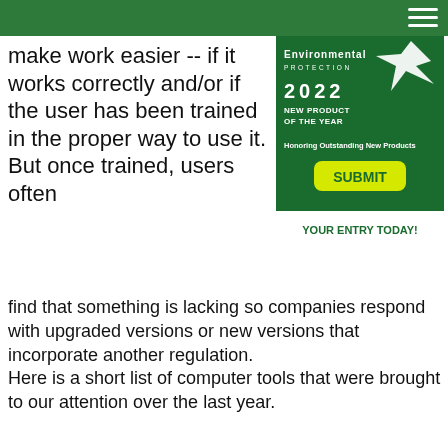make work easier -- if it works correctly and/or if the user has been trained in the proper way to use it. But once trained, users often find that something is lacking so companies respond with upgraded versions or new versions that incorporate another regulation.
[Figure (infographic): Environmental Protection 2022 New Product of the Year award advertisement. Green background with white shooting star logo, text reading 'Honoring Outstanding New Products' and a yellow SUBMIT button with text 'YOUR ENTRY TODAY!' in dark green.]
Here is a short list of computer tools that were brought to our attention over the last year.